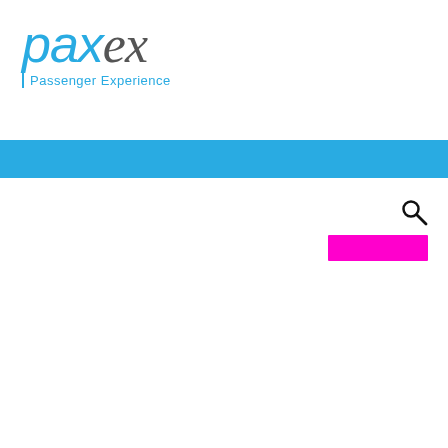[Figure (logo): paxex Passenger Experience logo — 'pax' in cyan italic, 'ex' in dark italic cursive, with 'Passenger Experience' tagline in cyan below with a left cyan border line]
Navigation bar — solid cyan/sky-blue horizontal band
[Figure (other): Search magnifying glass icon in the top-right area below the nav bar]
[Figure (other): Solid magenta/fuchsia rectangular button element below the search icon]